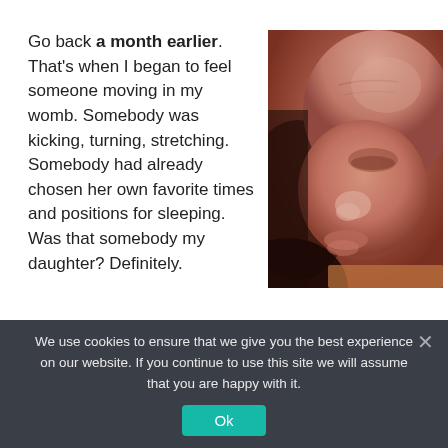Go back a month earlier. That's when I began to feel someone moving in my womb. Somebody was kicking, turning, stretching. Somebody had already chosen her own favorite times and positions for sleeping. Was that somebody my daughter? Definitely.
[Figure (photo): Close-up photo of a fetus/newborn face in warm reddish tones, showing nose, lips, and forehead in soft focus]
We use cookies to ensure that we give you the best experience on our website. If you continue to use this site we will assume that you are happy with it.